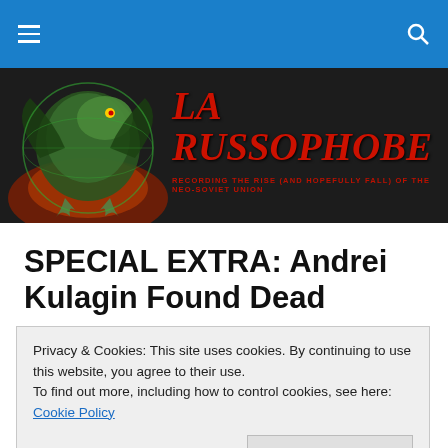Navigation bar with hamburger menu and search icon
[Figure (illustration): LA RUSSOPHOBE blog banner with dragon illustration on dark background. Title text: 'LA RUSSOPHOBE' in red italic font. Subtitle: 'RECORDING THE RISE (AND HOPEFULLY FALL) OF THE NEO-SOVIET UNION']
SPECIAL EXTRA: Andrei Kulagin Found Dead
[Figure (photo): Partial image showing blue and red arc shapes (top of an image) and a person photo at the bottom edge]
Privacy & Cookies: This site uses cookies. By continuing to use this website, you agree to their use.
To find out more, including how to control cookies, see here: Cookie Policy
Close and accept